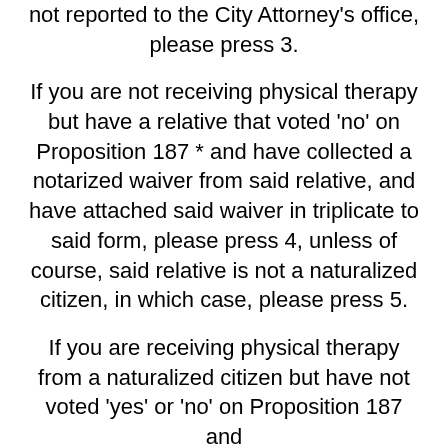not reported to the City Attorney's office, please press 3.
If you are not receiving physical therapy but have a relative that voted 'no' on Proposition 187 * and have collected a notarized waiver from said relative, and have attached said waiver in triplicate to said form, please press 4, unless of course, said relative is not a naturalized citizen, in which case, please press 5.
If you are receiving physical therapy from a naturalized citizen but have not voted 'yes' or 'no' on Proposition 187 and